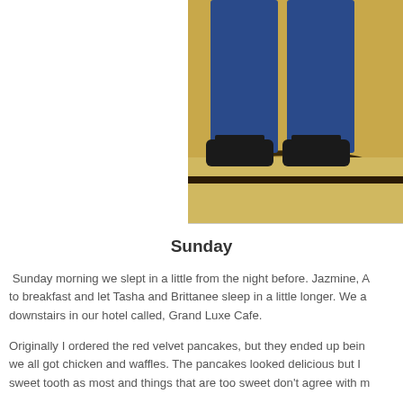[Figure (photo): Partial photo of a person sitting on a marble surface, wearing blue jeans and dark sandals, cropped at the waist down]
Sunday
Sunday morning we slept in a little from the night before. Jazmine, A to breakfast and let Tasha and Brittanee sleep in a little longer. We a downstairs in our hotel called, Grand Luxe Cafe.
Originally I ordered the red velvet pancakes, but they ended up bein we all got chicken and waffles. The pancakes looked delicious but I sweet tooth as most and things that are too sweet don't agree with m
[Figure (photo): Indoor restaurant or cafe scene, person in white shirt on left, person in green top in center, dark background on right]